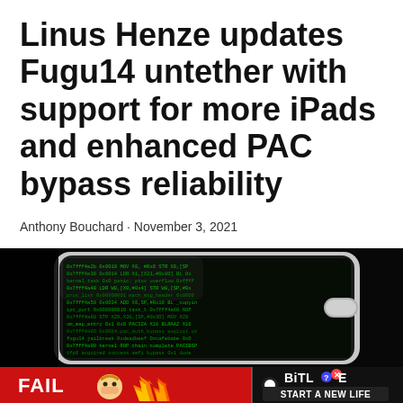Linus Henze updates Fugu14 untether with support for more iPads and enhanced PAC bypass reliability
Anthony Bouchard · November 3, 2021
[Figure (photo): A smartphone with a dark screen displaying green matrix-style text/code, placed at an angle on a dark background]
[Figure (infographic): BitLife advertisement banner with red background, showing 'FAIL' text, cartoon character, flames, and 'BitLife START A NEW LIFE' text with logo]